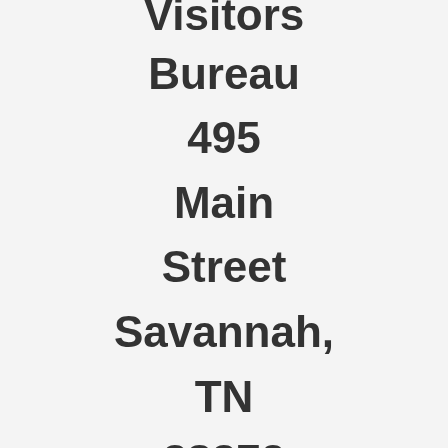Visitors Bureau 495 Main Street Savannah, TN 38372 1.800.552.3866 1.731.925.8181